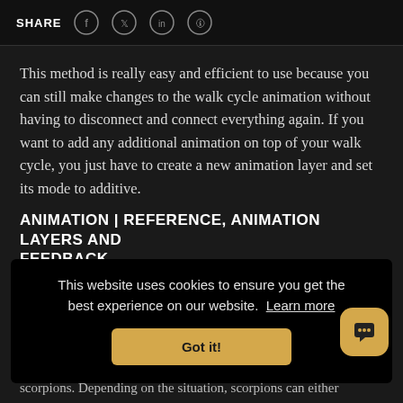SHARE
This method is really easy and efficient to use because you can still make changes to the walk cycle animation without having to disconnect and connect everything again. If you want to add any additional animation on top of your walk cycle, you just have to create a new animation layer and set its mode to additive.
ANIMATION | REFERENCE, ANIMATION LAYERS AND FEEDBACK
This website uses cookies to ensure you get the best experience on our website. Learn more
Got it!
scorpions. Depending on the situation, scorpions can either